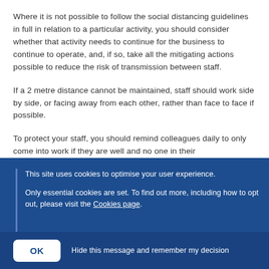Where it is not possible to follow the social distancing guidelines in full in relation to a particular activity, you should consider whether that activity needs to continue for the business to continue to operate, and, if so, take all the mitigating actions possible to reduce the risk of transmission between staff.
If a 2 metre distance cannot be maintained, staff should work side by side, or facing away from each other, rather than face to face if possible.
To protect your staff, you should remind colleagues daily to only come into work if they are well and no one in their
This site uses cookies to optimise your user experience.
Only essential cookies are set. To find out more, including how to opt out, please visit the Cookies page.
OK   Hide this message and remember my decision